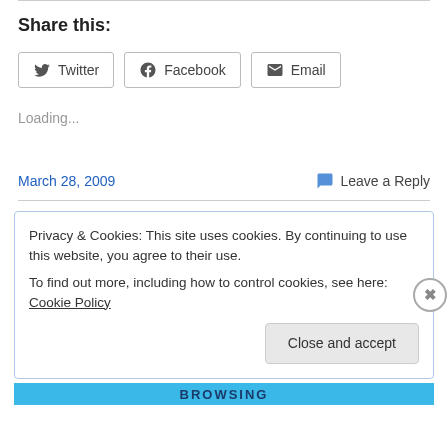Share this:
Twitter  Facebook  Email
Loading...
March 28, 2009
Leave a Reply
Privacy & Cookies: This site uses cookies. By continuing to use this website, you agree to their use. To find out more, including how to control cookies, see here: Cookie Policy
Close and accept